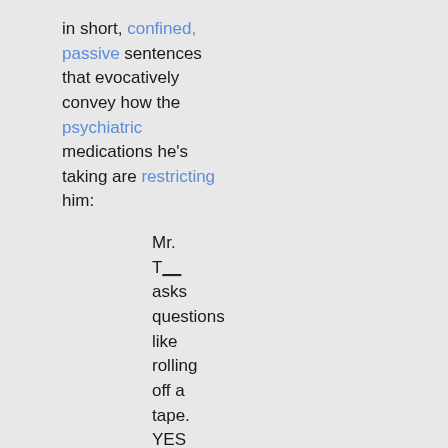in short, confined, passive sentences that evocatively convey how the psychiatric medications he's taking are restricting him: Mr. T__ asks questions like rolling off a tape. YES SIR I tell him NO SIR. I am employed. On a regular basis now. Dr. E__ is the